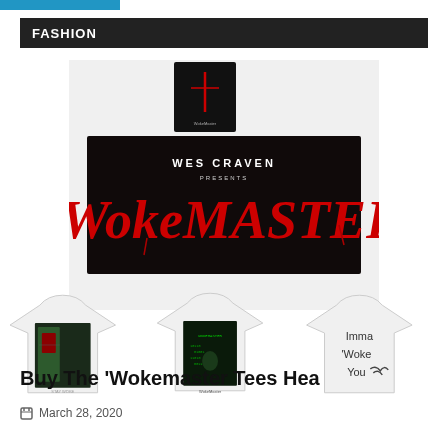FASHION
[Figure (illustration): Composite image showing a small movie-poster thumbnail at top, below it a wide black banner reading 'WES CRAVEN PRESENTS WokMASTER' in large red horror-style lettering, and below that three white t-shirts with graphic prints.]
Buy The 'Wokemaster Tees Hea
March 28, 2020